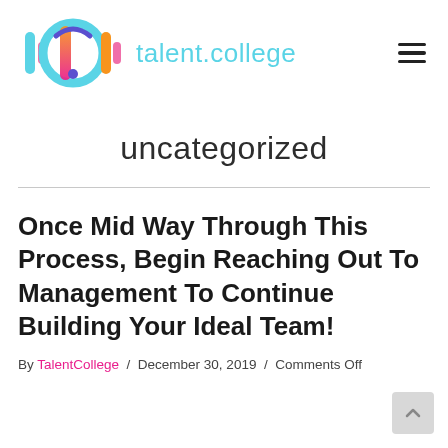talent.college
uncategorized
Once Mid Way Through This Process, Begin Reaching Out To Management To Continue Building Your Ideal Team!
By TalentCollege / December 30, 2019 / Comments Off